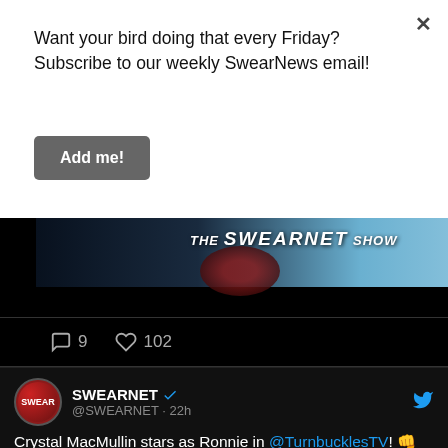Want your bird doing that every Friday? Subscribe to our weekly SwearNews email!
Add me!
[Figure (screenshot): The SwearNet Show banner image with dark background and light blue sky]
9  102
[Figure (screenshot): SwearNet Twitter/X card showing @SWEARNET verified account, 22h ago. Tweet: Crystal MacMullin stars as Ronnie in @TurnbucklesTV! 👊 Ronnie has a unique knack for handling the Turnbuckles bar's rough clientele having ended her fair share of brawls and been the]
SWEARNET @SWEARNET · 22h
Crystal MacMullin stars as Ronnie in @TurnbucklesTV! 👊

Ronnie has a unique knack for handling the Turnbuckles bar's rough clientele having ended her fair share of brawls and been the